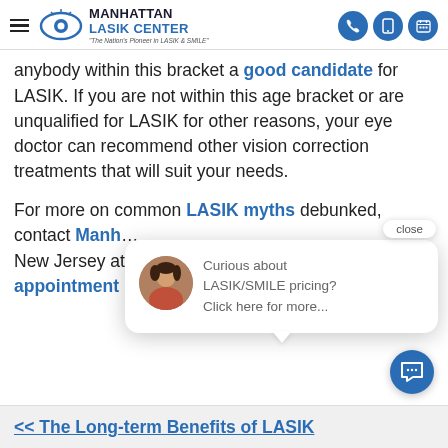Manhattan LASIK Center - The Nation's Pioneer in LASIK & SMILE
anybody within this bracket a good candidate for LASIK. If you are not within this age bracket or are unqualified for LASIK for other reasons, your eye doctor can recommend other vision correction treatments that will suit your needs.
For more on common LASIK myths debunked, contact Manhattan LASIK Center in New York and New Jersey at ... schedule an appointment
[Figure (screenshot): Chat popup with avatar photo saying 'Curious about LASIK/SMILE pricing? Click here for more...' with a close button]
<< The Long-term Benefits of LASIK